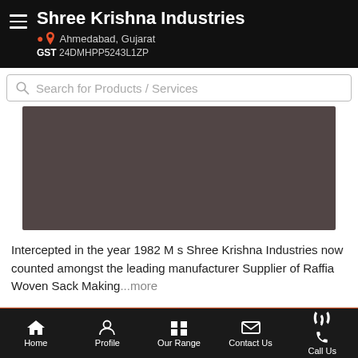Shree Krishna Industries
Ahmedabad, Gujarat
GST 24DMHPP5243L1ZP
Search for Products / Services
[Figure (photo): Dark brownish-grey product image placeholder]
Intercepted in the year 1982 M s Shree Krishna Industries now counted amongst the leading manufacturer Supplier of Raffia Woven Sack Making...more
Call Us
Get Details
Home  Profile  Our Range  Contact Us  Call Us